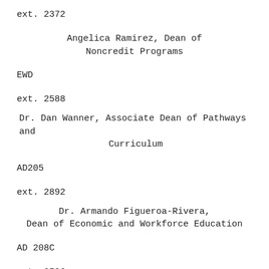ext. 2372
Angelica Ramirez, Dean of Noncredit Programs
EWD
ext. 2588
Dr. Dan Wanner, Associate Dean of Pathways and Curriculum
AD205
ext. 2892
Dr. Armando Figueroa-Rivera, Dean of Economic and Workforce Education
AD 208C
ext. 2596